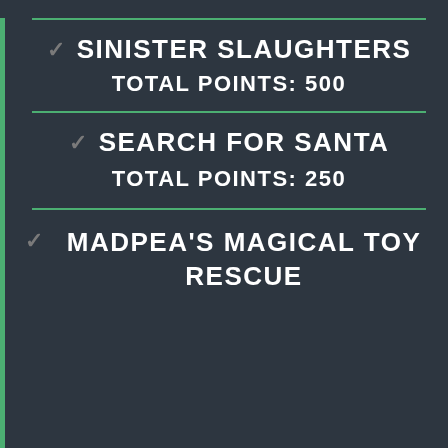SINISTER SLAUGHTERS
TOTAL POINTS: 500
SEARCH FOR SANTA
TOTAL POINTS: 250
MADPEA'S MAGICAL TOY RESCUE